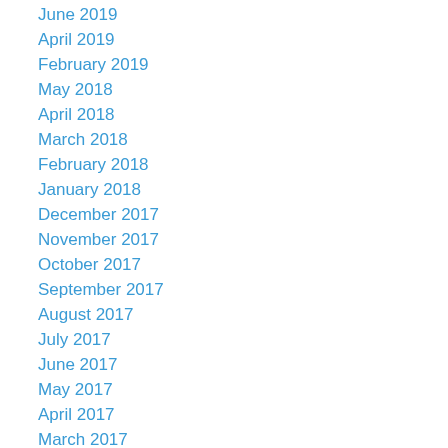June 2019
April 2019
February 2019
May 2018
April 2018
March 2018
February 2018
January 2018
December 2017
November 2017
October 2017
September 2017
August 2017
July 2017
June 2017
May 2017
April 2017
March 2017
February 2017